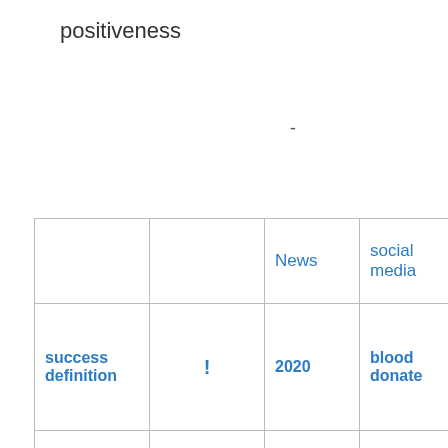positiveness
-
|  |  | News | social media |
| --- | --- | --- | --- |
| success definition | ! | 2020 | blood donate |
| lucky लखनऊ | Durga Saptashati | coronil (कोरोनील) tablet covid-19 | blood donation camp |